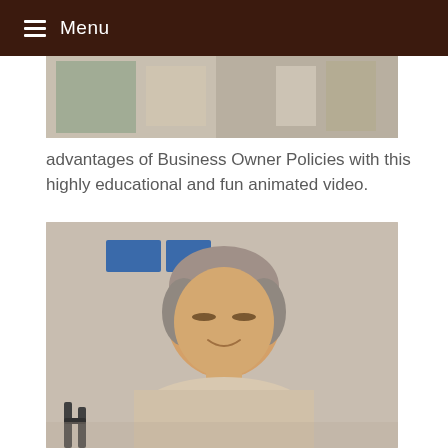Menu
[Figure (photo): Partial view of a restaurant or commercial kitchen setting, cropped at top]
advantages of Business Owner Policies with this highly educational and fun animated video.
[Figure (photo): Elderly Asian woman smiling, seated, wearing a beige top, with a walker visible at the bottom left, in a light-colored indoor setting with blue signage in the background]